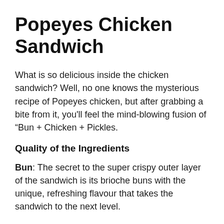Popeyes Chicken Sandwich
What is so delicious inside the chicken sandwich? Well, no one knows the mysterious recipe of Popeyes chicken, but after grabbing a bite from it, you'll feel the mind-blowing fusion of “Bun + Chicken + Pickles.
Quality of the Ingredients
Bun: The secret to the super crispy outer layer of the sandwich is its brioche buns with the unique, refreshing flavour that takes the sandwich to the next level.